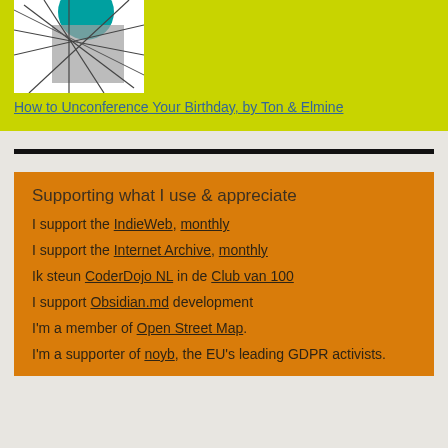[Figure (illustration): Book cover with teal circle and abstract gray lines on white background, on yellow-green background]
How to Unconference Your Birthday, by Ton & Elmine
Supporting what I use & appreciate
I support the IndieWeb, monthly
I support the Internet Archive, monthly
Ik steun CoderDojo NL in de Club van 100
I support Obsidian.md development
I'm a member of Open Street Map.
I'm a supporter of noyb, the EU's leading GDPR activists.